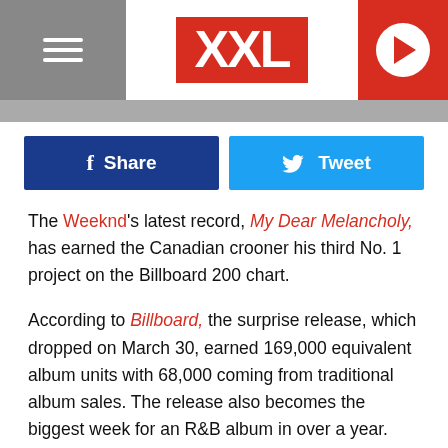XXL
[Figure (screenshot): Social sharing buttons: blue Facebook Share button and light blue Twitter Tweet button]
The Weeknd's latest record, My Dear Melancholy, has earned the Canadian crooner his third No. 1 project on the Billboard 200 chart.
According to Billboard, the surprise release, which dropped on March 30, earned 169,000 equivalent album units with 68,000 coming from traditional album sales. The release also becomes the biggest week for an R&B album in over a year.
My Dear Melancholy, which is only available to purchase as a digital download, also earned the highest sales week for an